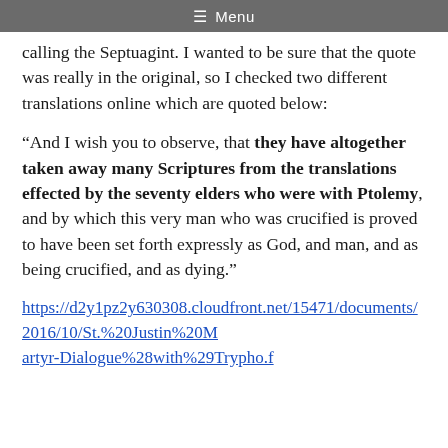☰ Menu
calling the Septuagint. I wanted to be sure that the quote was really in the original, so I checked two different translations online which are quoted below:
“And I wish you to observe, that they have altogether taken away many Scriptures from the translations effected by the seventy elders who were with Ptolemy, and by which this very man who was crucified is proved to have been set forth expressly as God, and man, and as being crucified, and as dying.”
https://d2y1pz2y630308.cloudfront.net/15471/documents/2016/10/St.%20Justin%20Martyr-Dialogue%28with%29Trypho.pdf